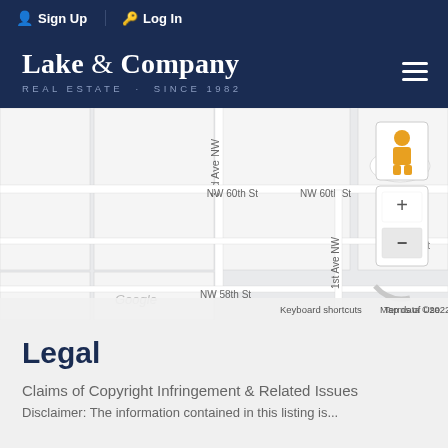Sign Up  Log In
[Figure (logo): Lake & Company Real Estate Since 1982 logo with hamburger menu icon]
[Figure (map): Google Maps screenshot showing street map of NW Seattle area with streets: 3rd Ave NW, NW 60th St, NW 59th St, NW 58th St, 1st Ave NW, N 60th St. A price marker showing 1.1M is visible. Map controls include a pegman icon and zoom +/- buttons. Map data ©2022. Keyboard shortcuts and Terms of Use links shown.]
Legal
Claims of Copyright Infringement & Related Issues
Disclaimer: The information contained in this listing is...